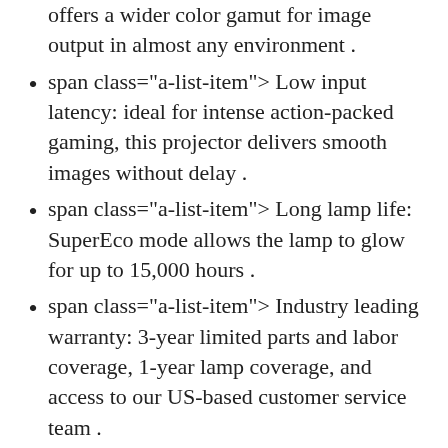offers a wider color gamut for image output in almost any environment .
span class="a-list-item"> Low input latency: ideal for intense action-packed gaming, this projector delivers smooth images without delay .
span class="a-list-item"> Long lamp life: SuperEco mode allows the lamp to glow for up to 15,000 hours .
span class="a-list-item"> Industry leading warranty: 3-year limited parts and labor coverage, 1-year lamp coverage, and access to our US-based customer service team .
span class="a-list-item"> Flexible connectivity: supports most media players, gaming consoles, PCs, Macs,